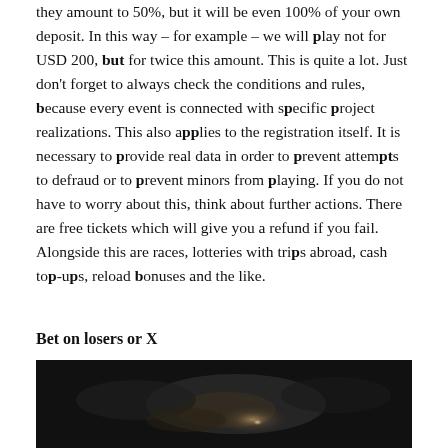they amount to 50%, but it will be even 100% of your own deposit. In this way – for example – we will play not for USD 200, but for twice this amount. This is quite a lot. Just don't forget to always check the conditions and rules, because every event is connected with specific project realizations. This also applies to the registration itself. It is necessary to provide real data in order to prevent attempts to defraud or to prevent minors from playing. If you do not have to worry about this, think about further actions. There are free tickets which will give you a refund if you fail. Alongside this are races, lotteries with trips abroad, cash top-ups, reload bonuses and the like.
Bet on losers or X
[Figure (photo): Dark photograph showing a dimly lit scene with faint light illuminating what appears to be clouds or smoke against a dark background.]